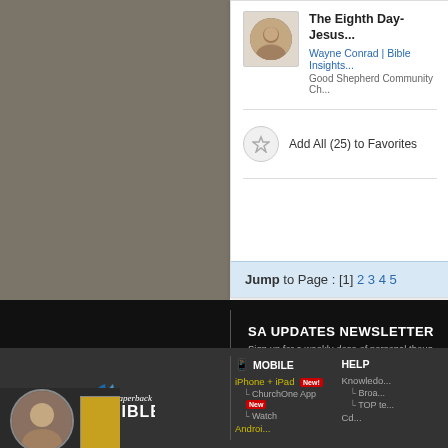[Figure (screenshot): Sermon listing card showing 'The Eighth Day- Jesus' by Wayne Conrad, Bible Insights, Good Shepherd Community Church, with avatar photo]
Add All (25) to Favorites
Jump to Page : [1] 2 3 4 5
SA UPDATES NEWSLETTER
Sign up for a weekly dose of personal thoug...
SIGN UP
MOBILE
iPhone + iPad New
ChurchOne App New
Watch
HELP
Knowledo...
Broa...
TOP te...